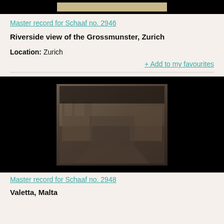[Figure (photo): Top portion of a photograph with black background and a tan/sepia colored image strip visible at the top]
Master record for Schaaf no. 2946
Riverside view of the Grossmunster, Zurich
Location: Zurich
+ Add to my favourites
[Figure (photo): Sepia/dark photograph showing a street scene with historic buildings, possibly in Malta. Black background surrounds the central photograph.]
Master record for Schaaf no. 2948
Valetta, Malta